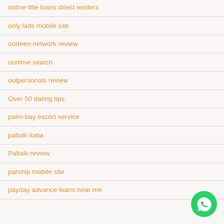online title loans direct lenders
only lads mobile site
ourteen network review
ourtime search
outpersonals review
Over 50 dating tips
palm-bay escort service
paltalk italia
Paltalk review
parship mobile site
payday advance loans near me
[Figure (logo): WhatsApp green circular button icon in bottom right corner]